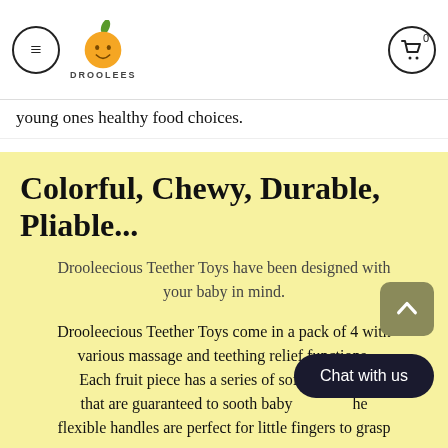≡  DROOLEES  🛒 0
young ones healthy food choices.
Colorful, Chewy, Durable, Pliable...
Drooleecious Teether Toys have been designed with your baby in mind.
Drooleecious Teether Toys come in a pack of 4 with various massage and teething relief functions. Each fruit piece has a series of soft nubs that are guaranteed to sooth baby… the flexible handles are perfect for little fingers to grasp